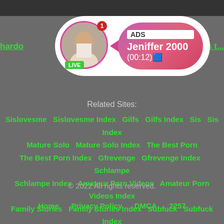[Figure (screenshot): Top dark image bar]
[Figure (infographic): Ad overlay with avatar, LIVE badge, ADS label, name Jeniffer 2000, time (00:12)]
hardo... ...s t...
Related Sites:
Sislovesme   Sislovesme Index   Gilfs   Gilfs Index   Sis   Sis Index
Mature Solo   Mature Solo Index   The Best Porn
The Best Porn Index   Gfrevenge   Gfrevenge Index   Schlampe
Schlampe Index   Amateur Porn Videos   Amateur Porn Videos Index
Family Stories   Family Stories Index   Subfuck   Subfuck Index
© 2022 All rights reserved.
Home   Privacy Policy   DMCA   2257